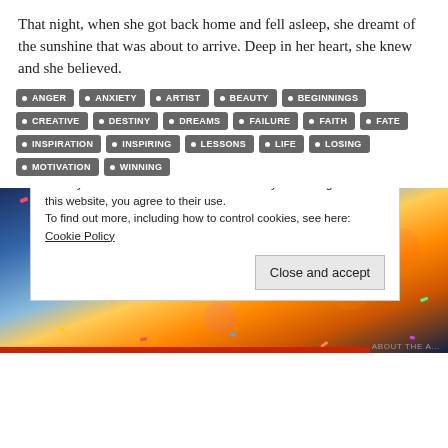That night, when she got back home and fell asleep, she dreamt of the sunshine that was about to arrive. Deep in her heart, she knew and she believed.
ANGER • ANXIETY • ARTIST • BEAUTY • BEGINNINGS • CREATIVE • DESTINY • DREAMS • FAILURE • FAITH • FATE • INSPIRATION • INSPIRING • LESSONS • LIFE • LOSING • MOTIVATION • WINNING
[Figure (photo): Colorful confetti and bokeh lights photo background]
Privacy & Cookies: This site uses cookies. By continuing to use this website, you agree to their use. To find out more, including how to control cookies, see here: Cookie Policy
Close and accept